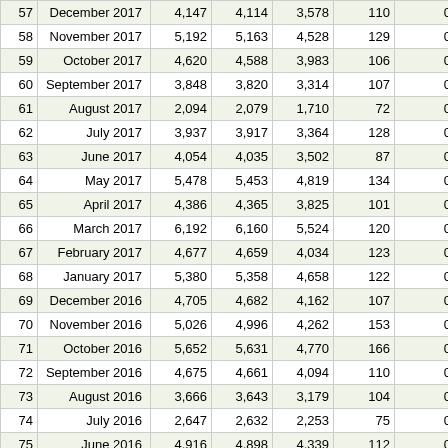| # | Month | Col3 | Col4 | Col5 | Col6 | Col7 | Col8 |
| --- | --- | --- | --- | --- | --- | --- | --- |
| 57 | December 2017 | 4,147 | 4,114 | 3,578 | 110 | 0 | 64 |
| 58 | November 2017 | 5,192 | 5,163 | 4,528 | 129 | 0 | 70 |
| 59 | October 2017 | 4,620 | 4,588 | 3,983 | 106 | 0 | 1 |
| 60 | September 2017 | 3,848 | 3,820 | 3,314 | 107 | 0 | 1.8 |
| 61 | August 2017 | 2,094 | 2,079 | 1,710 | 72 | 0 | 32 |
| 62 | July 2017 | 3,937 | 3,917 | 3,364 | 128 | 0 | 78 |
| 63 | June 2017 | 4,054 | 4,035 | 3,502 | 87 | 0 | 34 |
| 64 | May 2017 | 5,478 | 5,453 | 4,819 | 134 | 0 | 76 |
| 65 | April 2017 | 4,386 | 4,365 | 3,825 | 101 | 0 | 1.2 |
| 66 | March 2017 | 6,192 | 6,160 | 5,524 | 120 | 0 | 54 |
| 67 | February 2017 | 4,677 | 4,659 | 4,034 | 123 | 0 | 96 |
| 68 | January 2017 | 5,380 | 5,358 | 4,658 | 122 | 0 | 49 |
| 69 | December 2016 | 4,705 | 4,682 | 4,162 | 107 | 0 | 73 |
| 70 | November 2016 | 5,026 | 4,996 | 4,262 | 153 | 0 | 1 |
| 71 | October 2016 | 5,652 | 5,631 | 4,770 | 166 | 0 | 81 |
| 72 | September 2016 | 4,675 | 4,661 | 4,094 | 110 | 0 | 59 |
| 73 | August 2016 | 3,666 | 3,643 | 3,179 | 104 | 0 | 34 |
| 74 | July 2016 | 2,647 | 2,632 | 2,253 | 75 | 0 | 52 |
| 75 | June 2016 | 4,916 | 4,898 | 4,339 | 112 | 0 | 55 |
| 76 | May 2016 | 4,554 | 4,540 | 4,053 | 83 | 0 | 38 |
| 77 | April 2016 | 4,936 | 4,915 | 4,352 | 81 | 0 | 64 |
| 78 | March 2016 | 3,878 | 3,858 | 3,200 | 135 | 0 | 51 |
| 79 | February 2016 | 6,059 | 6,033 | 5,359 | 118 | 0 | 46 |